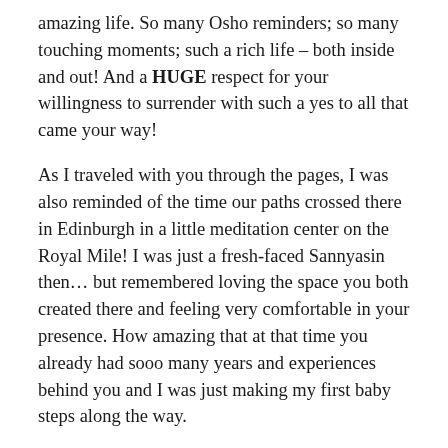amazing life. So many Osho reminders; so many touching moments; such a rich life – both inside and out! And a HUGE respect for your willingness to surrender with such a yes to all that came your way!
As I traveled with you through the pages, I was also reminded of the time our paths crossed there in Edinburgh in a little meditation center on the Royal Mile! I was just a fresh-faced Sannyasin then… but remembered loving the space you both created there and feeling very comfortable in your presence. How amazing that at that time you already had sooo many years and experiences behind you and I was just making my first baby steps along the way.
You also reminded me of that magical space I had experienced in the ashram… those early morning silences with steaming hot tea after Dynamic; the beauty of the Nalla Park… and also of the time I